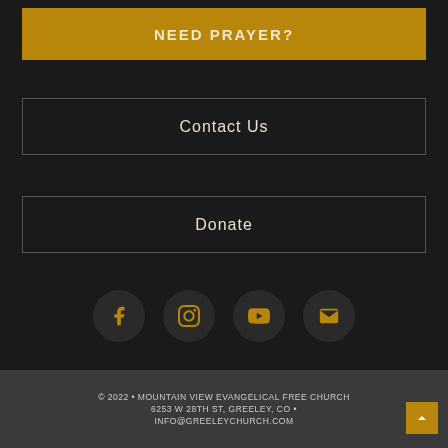NEED PRAYER?
Contact Us
Donate
[Figure (infographic): Row of four social media icons: Facebook, Instagram, YouTube, and Email/Mail, rendered as golden icons on dark circular backgrounds]
© 2022 • MOUNTAIN VIEW EVANGELICAL FREE CHURCH
6253 W 28TH ST, GREELEY, CO •
INFO@GREELEYCHURCH.COM